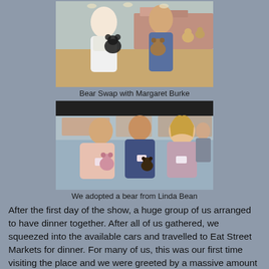[Figure (photo): Two people standing at a bear show, holding stuffed panda and teddy bears, with display tables visible in the background.]
Bear Swap with Margaret Burke
[Figure (photo): Three people posing together at a bear show, each holding small stuffed bears, with a crowded vendor hall visible behind them.]
We adopted a bear from Linda Bean
After the first day of the show, a huge group of us arranged to have dinner together. After all of us gathered, we squeezed into the available cars and travelled to Eat Street Markets for dinner. For many of us, this was our first time visiting the place and we were greeted by a massive amount